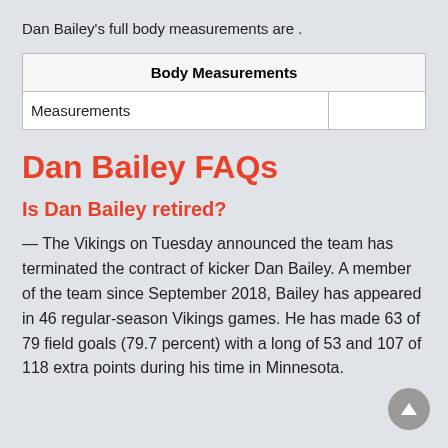Dan Bailey's full body measurements are .
| Body Measurements |
| --- |
| Measurements |  |
Dan Bailey FAQs
Is Dan Bailey retired?
— The Vikings on Tuesday announced the team has terminated the contract of kicker Dan Bailey. A member of the team since September 2018, Bailey has appeared in 46 regular-season Vikings games. He has made 63 of 79 field goals (79.7 percent) with a long of 53 and 107 of 118 extra points during his time in Minnesota.